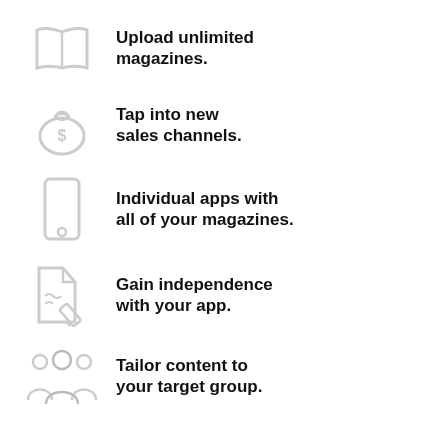Upload unlimited magazines.
Tap into new sales channels.
Individual apps with all of your magazines.
Gain independence with your app.
Tailor content to your target group.